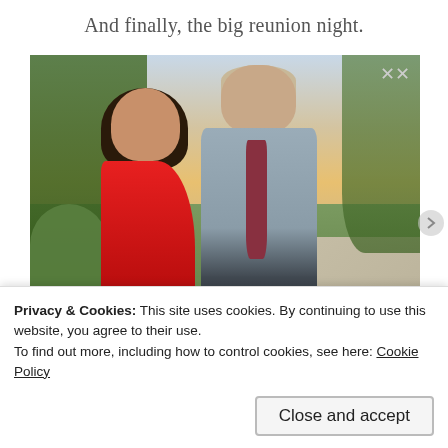And finally, the big reunion night.
[Figure (photo): A couple posing outdoors at sunset. A woman in a red one-shoulder dress and a man in a gray shirt with a dark red tie, standing on a path with trees and greenery in the background.]
Privacy & Cookies: This site uses cookies. By continuing to use this website, you agree to their use.
To find out more, including how to control cookies, see here: Cookie Policy
Close and accept